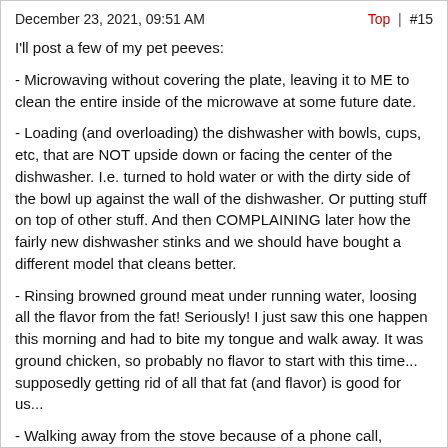December 23, 2021, 09:51 AM    Top | #15
I'll post a few of my pet peeves:
- Microwaving without covering the plate, leaving it to ME to clean the entire inside of the microwave at some future date.
- Loading (and overloading) the dishwasher with bowls, cups, etc, that are NOT upside down or facing the center of the dishwasher. I.e. turned to hold water or with the dirty side of the bowl up against the wall of the dishwasher. Or putting stuff on top of other stuff. And then COMPLAINING later how the fairly new dishwasher stinks and we should have bought a different model that cleans better.
- Rinsing browned ground meat under running water, loosing all the flavor from the fat! Seriously! I just saw this one happen this morning and had to bite my tongue and walk away. It was ground chicken, so probably no flavor to start with this time... supposedly getting rid of all that fat (and flavor) is good for us...
- Walking away from the stove because of a phone call, leaving it to me to go stir or watch whatever is on the stove, then getting upset that I took over in the kitchen when you come back 15 minutes later, having forgotten you were cooking.
- Locking the doors into and out of the house, or padlocking a